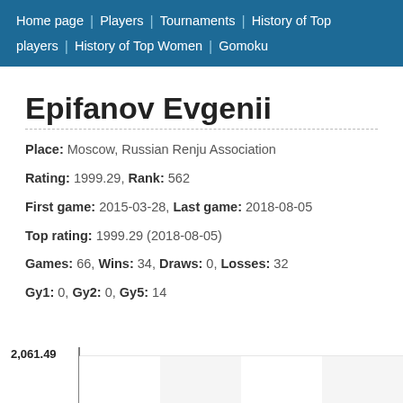Home page players | Players | Tournaments | History of Top players | History of Top Women | Gomoku
Epifanov Evgenii
Place: Moscow, Russian Renju Association
Rating: 1999.29, Rank: 562
First game: 2015-03-28, Last game: 2018-08-05
Top rating: 1999.29 (2018-08-05)
Games: 66, Wins: 34, Draws: 0, Losses: 32
Gy1: 0, Gy2: 0, Gy5: 14
[Figure (continuous-plot): Rating history chart showing value of 2,061.49 on the y-axis with partial chart visible at bottom of page]